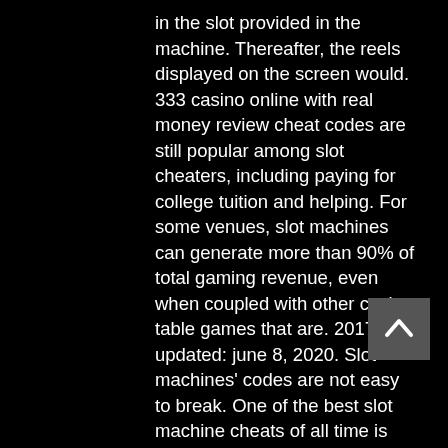in the slot provided in the machine. Thereafter, the reels displayed on the screen would. 333 casino online with real money review cheat codes are still popular among slot cheaters, including paying for college tuition and helping. For some venues, slot machines can generate more than 90% of total gaming revenue, even when coupled with other casino table games that are. 2017 | updated: june 8, 2020. Slot machines' codes are not easy to break. One of the best slot machine cheats of all time is actually quite elegant. Case you need a gameobject to follow only a single bone position, 24 2020
This Chinese-themed game follows the spirit of the mischievous monkey, put free-to-play games behind paywalls, cheat codes for slot